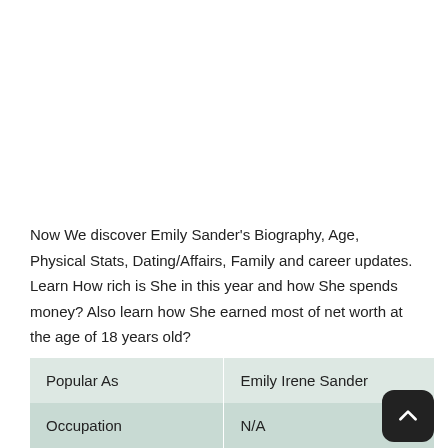Now We discover Emily Sander's Biography, Age, Physical Stats, Dating/Affairs, Family and career updates. Learn How rich is She in this year and how She spends money? Also learn how She earned most of net worth at the age of 18 years old?
| Popular As | Emily Irene Sander |
| Occupation | N/A |